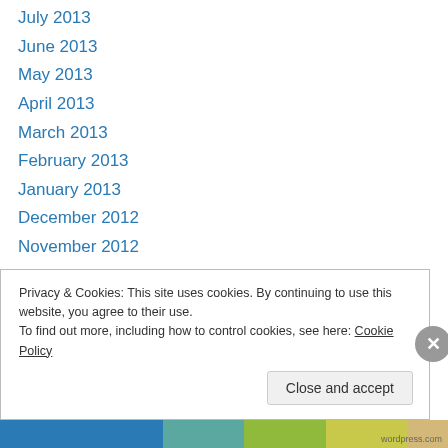July 2013
June 2013
May 2013
April 2013
March 2013
February 2013
January 2013
December 2012
November 2012
October 2012
September 2012
August 2012
July 2012
June 2012
Privacy & Cookies: This site uses cookies. By continuing to use this website, you agree to their use. To find out more, including how to control cookies, see here: Cookie Policy
Close and accept